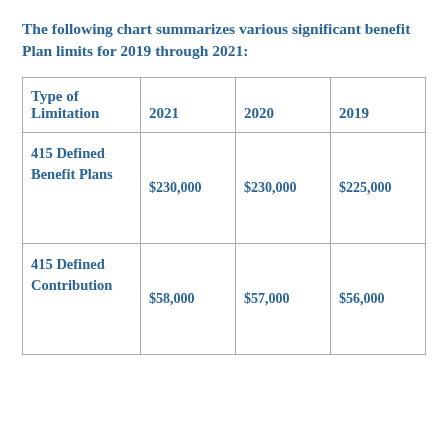The following chart summarizes various significant benefit Plan limits for 2019 through 2021:
| Type of Limitation | 2021 | 2020 | 2019 |
| --- | --- | --- | --- |
| 415 Defined Benefit Plans | $230,000 | $230,000 | $225,000 |
| 415 Defined Contribution | $58,000 | $57,000 | $56,000 |